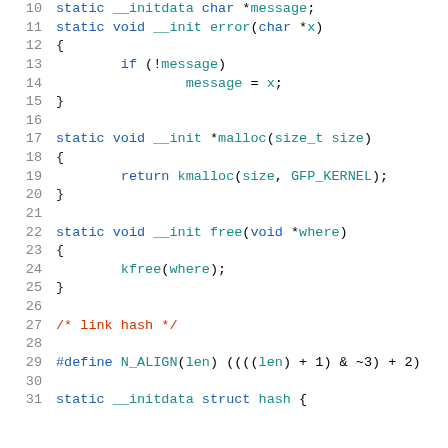[Figure (screenshot): Source code listing lines 10-31 of a C kernel file showing static functions for error, malloc, free, a comment 'link hash', a #define for N_ALIGN, and start of struct hash definition.]